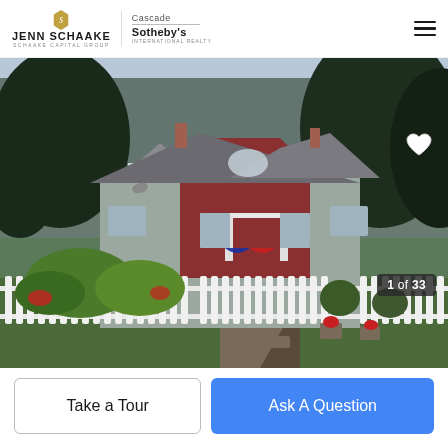[Figure (logo): Jenn Schaake / Schaake Capital Group logo with gold shield icon]
[Figure (logo): Cascade Sotheby's International Realty logo]
[Figure (photo): Exterior photo of a Victorian-style house with red and gray siding, white picket fence, lush landscaping, patriotic bunting, and large evergreen trees in background. Counter shows 1 of 33.]
Take a Tour
Ask A Question